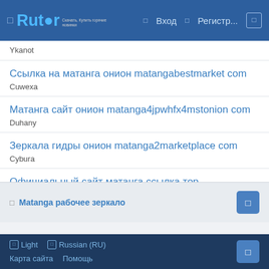Rutor — Вход Регистр...
Ykanot
Ссылка на матанга онион matangabestmarket com
Cuwexa
Матанга сайт онион matanga4jpwhfx4mstonion com
Duhany
Зеркала гидры онион matanga2marketplace com
Cybura
Официальный сайт матанга ссылка тор matanga4jpwhfx4mstonion com
Oxivuru
Matanga рабочее зеркало
Light   Russian (RU)
Карта сайта   Помощь